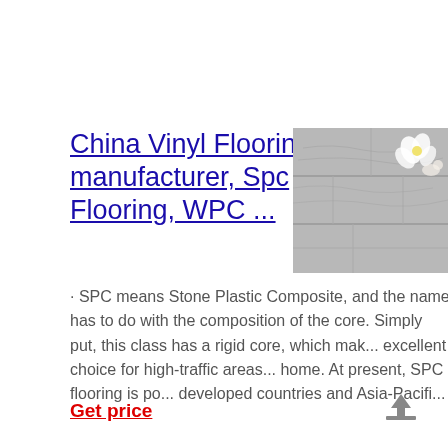China Vinyl Flooring manufacturer, Spc Flooring, WPC ...
[Figure (photo): Photo of vinyl/SPC flooring planks with white flowers placed on top, showing wood-grain texture in grey tones]
· SPC means Stone Plastic Composite, and the name has to do with the composition of the core. Simply put, this class has a rigid core, which makes excellent choice for high-traffic areas home. At present, SPC flooring is po developed countries and Asia-Pacifi...
Get price